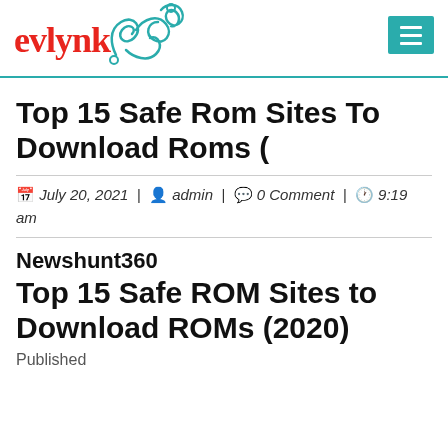evlynk [logo with swirl and hamburger menu]
Top 15 Safe Rom Sites To Download Roms (
July 20, 2021 | admin | 0 Comment | 9:19 am
Newshunt360
Top 15 Safe ROM Sites to Download ROMs (2020)
Published